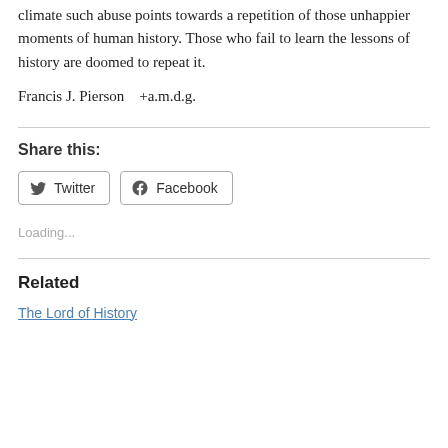climate such abuse points towards a repetition of those unhappier moments of human history. Those who fail to learn the lessons of history are doomed to repeat it.
Francis J. Pierson   +a.m.d.g.
Share this:
[Figure (other): Twitter and Facebook share buttons]
Loading...
Related
The Lord of History